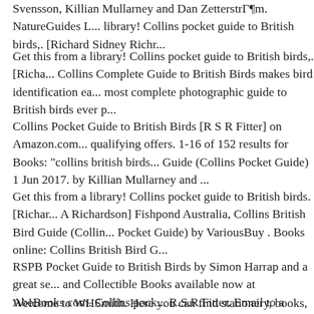Svensson, Killian Mullarney and Dan Zetterström. NatureGuides library! Collins pocket guide to British birds,. [Richard Sidney Richr...
Get this from a library! Collins pocket guide to British birds,. [Richa... Collins Complete Guide to British Birds makes bird identification ea... most complete photographic guide to British birds ever p...
Collins Pocket Guide to British Birds [R S R Fitter] on Amazon.com... qualifying offers. 1-16 of 152 results for Books: "collins british birds... Guide (Collins Pocket Guide) 1 Jun 2017. by Killian Mullarney and ...
Get this from a library! Collins pocket guide to British birds. [Richar... A Richardson] Fishpond Australia, Collins British Bird Guide (Collins Pocket Guide) by VariousBuy . Books online: Collins British Bird G...
RSPB Pocket Guide to British Birds by Simon Harrap and a great se... and Collectible Books available now at AbeBooks.com. Collins pock... R.S.R.Fitter. Email to a Friend; Quick Overview. Availability: In stoc...
Welcome to WHSmith. Here you can find stationery, books, eReade...